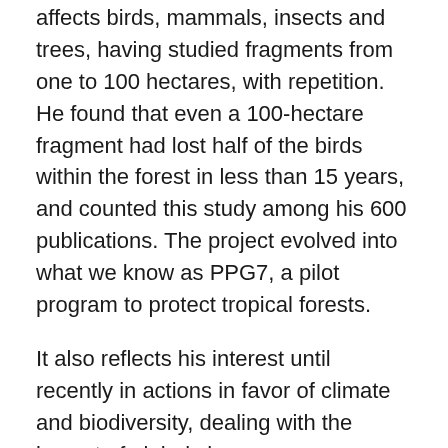affects birds, mammals, insects and trees, having studied fragments from one to 100 hectares, with repetition. He found that even a 100-hectare fragment had lost half of the birds within the forest in less than 15 years, and counted this study among his 600 publications. The project evolved into what we know as PPG7, a pilot program to protect tropical forests.
It also reflects his interest until recently in actions in favor of climate and biodiversity, dealing with the impact of global changes on biodiversity.
He has worked for many governmental, non-governmental, and academic institutions, and has broadened his discourse on the importance of rainforests and neighborhood conservation. His activities at the Smithsonian Institution, the World Bank, and the United Nations were also highly influential. He received important